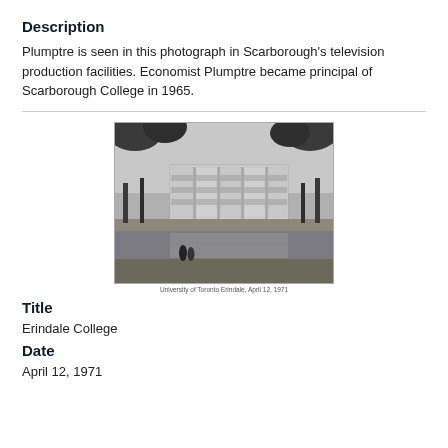Description
Plumptre is seen in this photograph in Scarborough's television production facilities. Economist Plumptre became principal of Scarborough College in 1965.
[Figure (photo): Black and white photograph of Erindale College building reflected in water, with two figures in foreground and trees framing the scene. Caption reads: University of Toronto Erindale, April 12, 1971.]
Title
Erindale College
Date
April 12, 1971